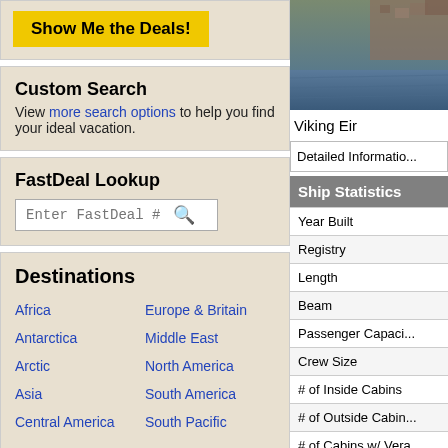Show Me the Deals!
Custom Search
View more search options to help you find your ideal vacation.
FastDeal Lookup
Enter FastDeal #
Destinations
Africa
Antarctica
Arctic
Asia
Central America
Europe & Britain
Middle East
North America
South America
South Pacific
[Figure (photo): Photo of Viking Eir ship on water]
Viking Eir
Detailed Informatio...
Ship Statistics
| Statistic |
| --- |
| Year Built |
| Registry |
| Length |
| Beam |
| Passenger Capaci... |
| Crew Size |
| # of Inside Cabins |
| # of Outside Cabin... |
| # of Cabins w/ Vera... |
| # of Suites |